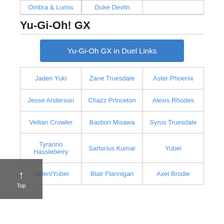| Ombra & Lumis | Duke Devlin |  |
Yu-Gi-Oh! GX
Yu-Gi-Oh GX in Duel Links
| Jaden Yuki | Zane Truesdale | Aster Phoenix |
| Jesse Anderson | Chazz Princeton | Alexis Rhodes |
| Vellian Crowler | Bastion Misawa | Syrus Truesdale |
| Tyranno Hassleberry | Sartorius Kumar | Yubel |
| Jaden/Yubel | Blair Flannigan | Axel Brodie |